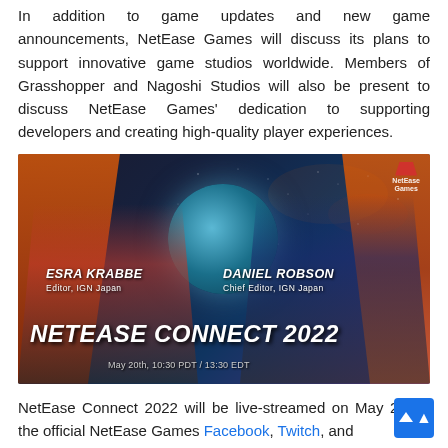In addition to game updates and new game announcements, NetEase Games will discuss its plans to support innovative game studios worldwide. Members of Grasshopper and Nagoshi Studios will also be present to discuss NetEase Games' dedication to supporting developers and creating high-quality player experiences.
[Figure (photo): NetEase Connect 2022 promotional banner showing two hosts: ESRA KRABBE (Editor, IGN Japan) and DANIEL ROBSON (Chief Editor, IGN Japan), with the event title 'NETEASE CONNECT 2022' and date 'May 20th, 10:30 PDT / 13:30 EDT'. Background features space/galaxy imagery with orange geometric shapes and a blue planet.]
NetEase Connect 2022 will be live-streamed on May 20 on the official NetEase Games Facebook, Twitch, and